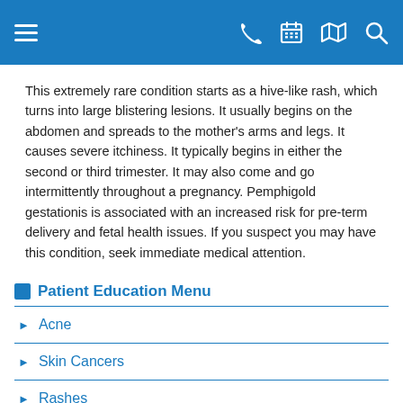[Navigation bar with menu, phone, calendar, map, and search icons]
This extremely rare condition starts as a hive-like rash, which turns into large blistering lesions. It usually begins on the abdomen and spreads to the mother's arms and legs. It causes severe itchiness. It typically begins in either the second or third trimester. It may also come and go intermittently throughout a pregnancy. Pemphigold gestationis is associated with an increased risk for pre-term delivery and fetal health issues. If you suspect you may have this condition, seek immediate medical attention.
Patient Education Menu
Acne
Skin Cancers
Rashes
Sun Safety